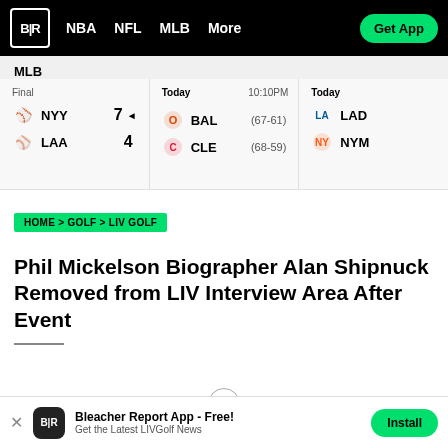B|R  NBA  NFL  MLB  More  Get App
MLB
| Team | Score | Status | Time/Record |
| --- | --- | --- | --- |
| NYY | 7 ◄ | Final |  |
| LAA | 4 |  |  |
| BAL |  | Today | (67-61) |
| CLE |  | 10:10PM | (68-59) |
| LAD |  | Today |  |
| NYM |  |  |  |
HOME > GOLF > LIV GOLF
Phil Mickelson Biographer Alan Shipnuck Removed from LIV Interview Area After Event
Bleacher Report App - Free! Get the Latest LIVGolf News  Install